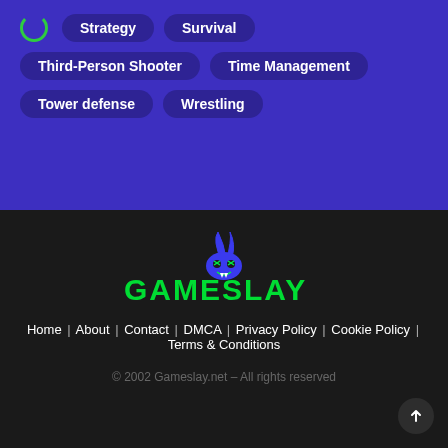Strategy
Survival
Third-Person Shooter
Time Management
Tower defense
Wrestling
[Figure (logo): Gameslay logo with devil horns icon and green text on dark background]
Home | About | Contact | DMCA | Privacy Policy | Cookie Policy | Terms & Conditions
© 2002 Gameslay.net – All rights reserved